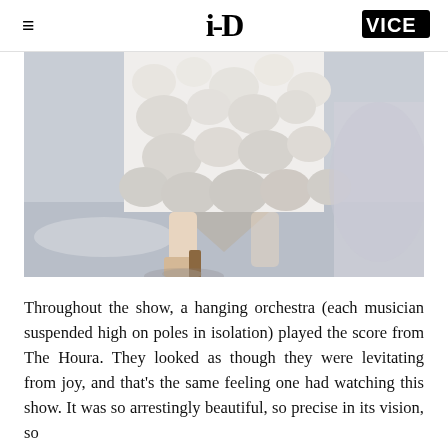i-D | VICE
[Figure (photo): Close-up of a model's lower body on a runway, wearing a white textured floral/brocade midi dress and beige heeled shoes with a thick cork-like heel, walking on a reflective floor.]
Throughout the show, a hanging orchestra (each musician suspended high on poles in isolation) played the score from The Houra. They looked as though they were levitating from joy, and that's the same feeling one had watching this show. It was so arrestingly beautiful, so precise in its vision, so